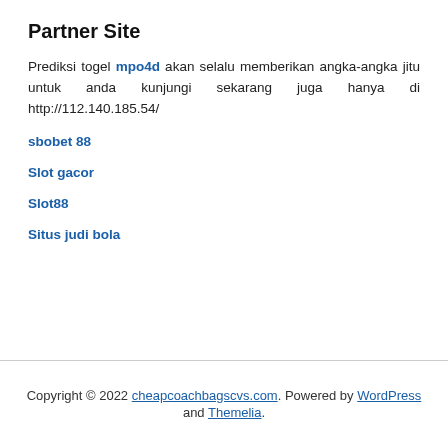Partner Site
Prediksi togel mpo4d akan selalu memberikan angka-angka jitu untuk anda kunjungi sekarang juga hanya di http://112.140.185.54/
sbobet 88
Slot gacor
Slot88
Situs judi bola
Copyright © 2022 cheapcoachbagscvs.com. Powered by WordPress and Themelia.